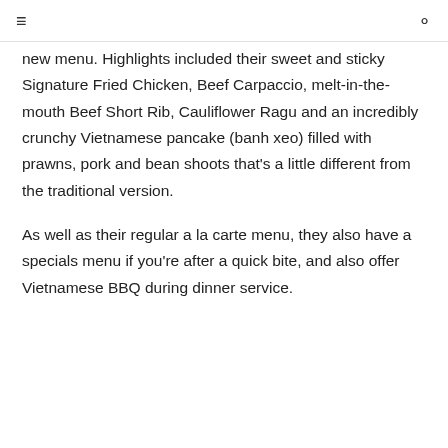≡  🔍
new menu. Highlights included their sweet and sticky Signature Fried Chicken, Beef Carpaccio, melt-in-the-mouth Beef Short Rib, Cauliflower Ragu and an incredibly crunchy Vietnamese pancake (banh xeo) filled with prawns, pork and bean shoots that's a little different from the traditional version.
As well as their regular a la carte menu, they also have a specials menu if you're after a quick bite, and also offer Vietnamese BBQ during dinner service.